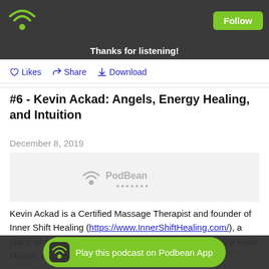Thanks for listening!
Likes  Share  Download
#6 - Kevin Ackad: Angels, Energy Healing, and Intuition
December 8, 2019
[Figure (other): PodBean podcast audio player widget]
Kevin Ackad is a Certified Massage Therapist and founder of Inner Shift Healing (https://www.InnerShiftHealing.com/), a place where he incorporates his talents and training as a Reiki Master, Angel C... facilita...
Play this podcast on Podbean App